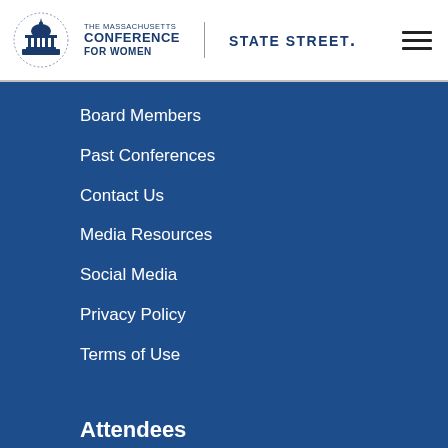[Figure (logo): The Massachusetts Conference for Women logo with capitol dome icon, and State Street logo in the header]
Board Members
Past Conferences
Contact Us
Media Resources
Social Media
Privacy Policy
Terms of Use
Attendees
Agenda (NEW)
Speakers
Exhibitors